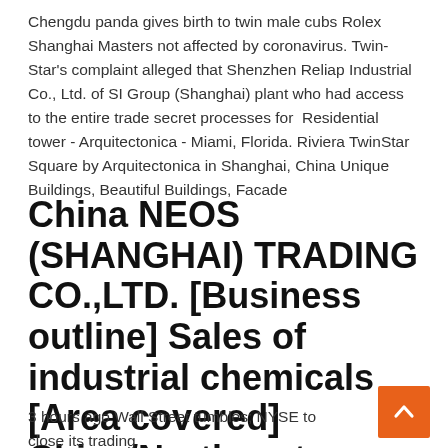Chengdu panda gives birth to twin male cubs Rolex Shanghai Masters not affected by coronavirus. Twin-Star's complaint alleged that Shenzhen Reliap Industrial Co., Ltd. of SI Group (Shanghai) plant who had access to the entire trade secret processes for  Residential tower - Arquitectonica - Miami, Florida. Riviera TwinStar Square by Arquitectonica in Shanghai, China Unique Buildings, Beautiful Buildings, Facade
China NEOS (SHANGHAI) TRADING CO.,LTD. [Business outline] Sales of industrial chemicals [Area covered] China/Northeast, North, East
3 hours ago Wall Street tumbles; NYSE to close its trading
Pop stars live stream in response to COVID-19 self-isolation